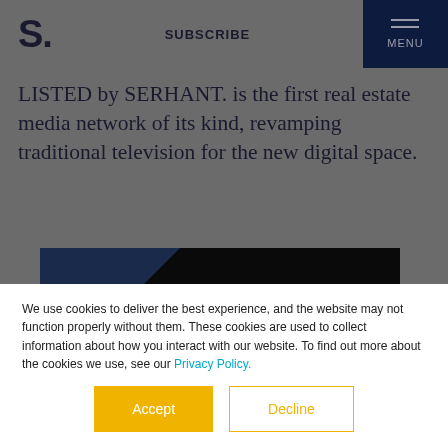S. | SUBSCRIBE | MENU
LISTED by SERHANT. is the first real estate media network of its kind, revamping traditional television for the new digital space.
[Figure (other): Dark/black image placeholder with diagonal 'COMING SOON' banner in the top-left corner]
We use cookies to deliver the best experience, and the website may not function properly without them. These cookies are used to collect information about how you interact with our website. To find out more about the cookies we use, see our Privacy Policy.
Accept | Decline